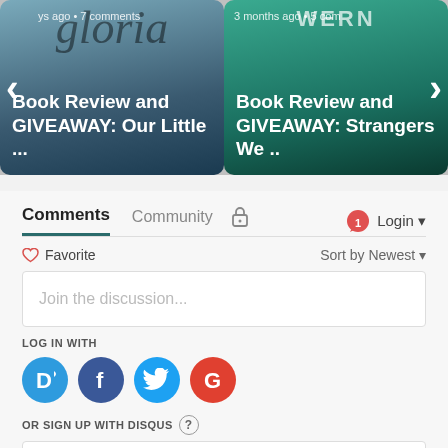[Figure (screenshot): Two book review carousel cards side by side with left and right navigation arrows. Left card: 'ys ago • 7 comments / Book Review and GIVEAWAY: Our Little ...' on a blue-tinted background. Right card: '3 months ago • 5 com / Book Review and GIVEAWAY: Strangers We ..' on a teal-tinted background.]
Comments  Community  🔒  [1] Login
♡ Favorite    Sort by Newest
Join the discussion...
LOG IN WITH
[Figure (infographic): Four social login icons: Disqus (D, blue circle), Facebook (f, dark blue circle), Twitter (bird, light blue circle), Google (G, red circle)]
OR SIGN UP WITH DISQUS ?
Name